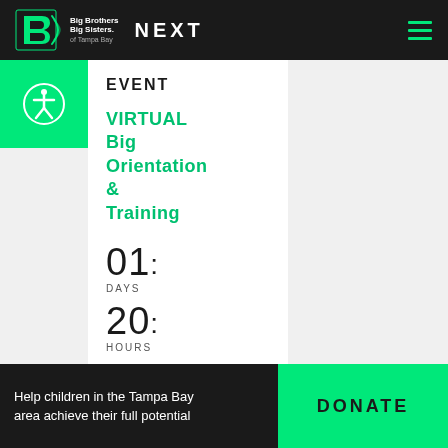NEXT
[Figure (logo): Big Brothers Big Sisters of Tampa Bay logo]
EVENT
VIRTUAL Big Orientation & Training
01 : DAYS
20 : HOURS
10 :
Help children in the Tampa Bay area achieve their full potential
DONATE